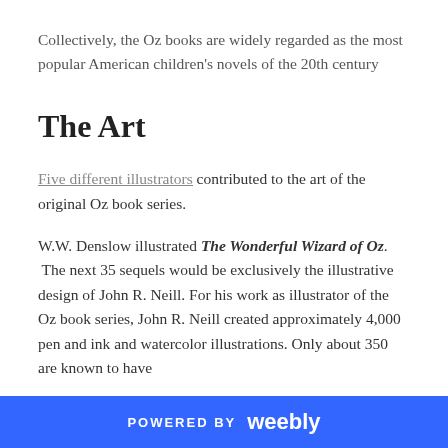Collectively, the Oz books are widely regarded as the most popular American children's novels of the 20th century
The Art
Five different illustrators contributed to the art of the original Oz book series.
W.W. Denslow illustrated The Wonderful Wizard of Oz. The next 35 sequels would be exclusively the illustrative design of John R. Neill. For his work as illustrator of the Oz book series, John R. Neill created approximately 4,000 pen and ink and watercolor illustrations. Only about 350 are known to have
POWERED BY weebly